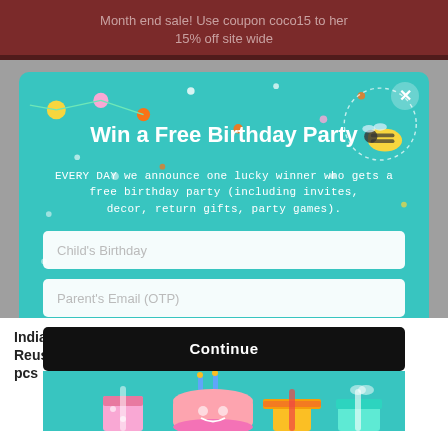Month end sale! Use coupon coco15 to her 15% off site wide
[Figure (screenshot): Promotional popup modal with teal background featuring 'Win a Free Birthday Party' headline, two input fields (Child's Birthday, Parent's Email), Continue button, and birthday cake/gift decorations at bottom. A bee illustration is in the upper right.]
Win a Free Birthday Party
EVERY DAY we announce one lucky winner who gets a free birthday party (including invites, decor, return gifts, party games).
Child's Birthday
Parent's Email (OTP)
Continue
India Map for Kids with Reusable Stickers – Set of 5 pcs
India Map with Reusable Stickers
₹649.00  ₹411.00